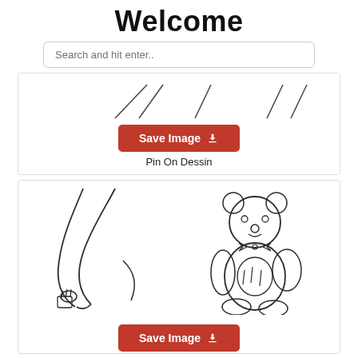Welcome
Search and hit enter..
[Figure (illustration): Line drawing sketch of a figure/person with diagonal lines suggesting a body or clothing, partially visible at top of card]
Save Image
Pin On Dessin
[Figure (illustration): Line drawing of a person's arm holding something small in a fist on the left, and a teddy bear with a bow tie on the right]
Save Image